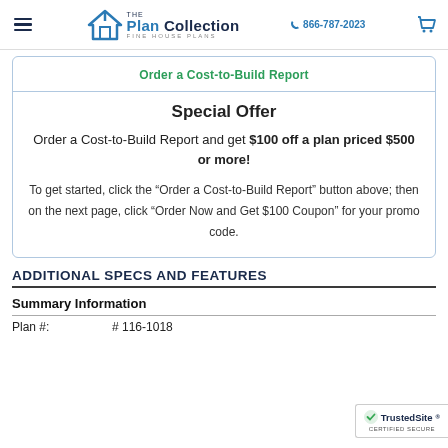The Plan Collection - Fine House Plans | 866-787-2023
Order a Cost-to-Build Report
Special Offer
Order a Cost-to-Build Report and get $100 off a plan priced $500 or more!
To get started, click the “Order a Cost-to-Build Report” button above; then on the next page, click “Order Now and Get $100 Coupon” for your promo code.
ADDITIONAL SPECS AND FEATURES
Summary Information
Plan #:    # 116-1018